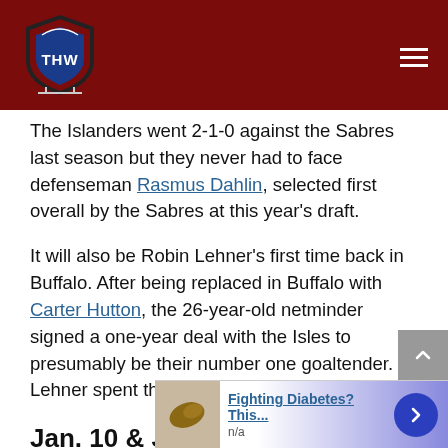THW logo and navigation header
The Islanders went 2-1-0 against the Sabres last season but they never had to face defenseman Rasmus Dahlin, selected first overall by the Sabres at this year's draft.
It will also be Robin Lehner's first time back in Buffalo. After being replaced in Buffalo with Carter Hutton, the 26-year-old netminder signed a one-year deal with the Isles to presumably be their number one goaltender. Lehner spent the past three seasons in Buffalo.
Jan. 10 & Jan. 12, 2019: Islanders @ Rangers & Islanders vs. Rangers
[Figure (other): Advertisement banner: Fighting Diabetes? This... n/a with cashews image and forward arrow button]